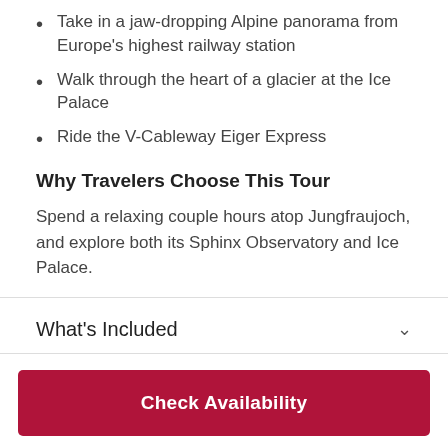Take in a jaw-dropping Alpine panorama from Europe's highest railway station
Walk through the heart of a glacier at the Ice Palace
Ride the V-Cableway Eiger Express
Why Travelers Choose This Tour
Spend a relaxing couple hours atop Jungfraujoch, and explore both its Sphinx Observatory and Ice Palace.
What's Included
Check Availability